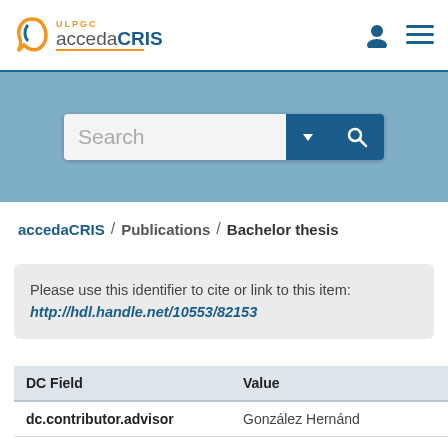ULPGC accedaCRIS
Search
accedaCRIS / Publications / Bachelor thesis
Please use this identifier to cite or link to this item: http://hdl.handle.net/10553/82153
| DC Field | Value |
| --- | --- |
| dc.contributor.advisor | González Hernánd |